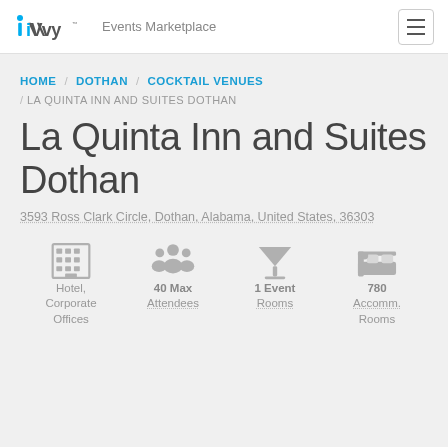iVvy Events Marketplace
HOME / DOTHAN / COCKTAIL VENUES / LA QUINTA INN AND SUITES DOTHAN
La Quinta Inn and Suites Dothan
3593 Ross Clark Circle, Dothan, Alabama, United States, 36303
Hotel, Corporate Offices | 40 Max Attendees | 1 Event Rooms | 780 Accomm. Rooms